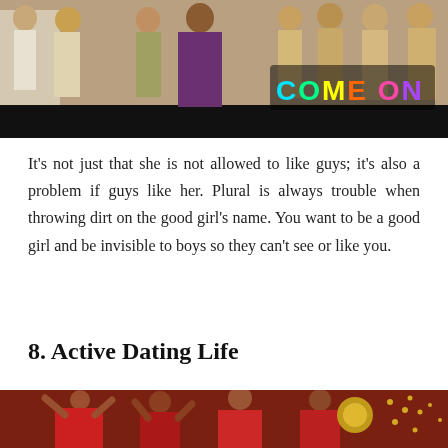[Figure (photo): A scene with people in Indian traditional attire at a celebration, with colorful text 'COME ON' overlaid on the right side of the image.]
It's not just that she is not allowed to like guys; it's also a problem if guys like her. Plural is always trouble when throwing dirt on the good girl's name. You want to be a good girl and be invisible to boys so they can't see or like you.
8. Active Dating Life
[Figure (photo): A festive dance scene with people in red traditional Indian attire.]